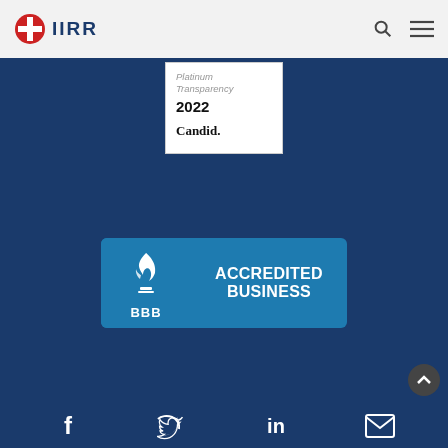[Figure (logo): IIRR logo with red cross/globe icon and dark blue IIRR text in top navigation bar]
[Figure (logo): Candid Platinum Transparency 2022 badge - white card with text 'Platinum Transparency 2022 Candid.']
[Figure (logo): BBB Accredited Business badge - blue horizontal badge with BBB torch logo on left and 'ACCREDITED BUSINESS' text on right]
[Figure (other): Social media icons row at bottom: Facebook, Twitter, LinkedIn, Email icons in white on dark blue background]